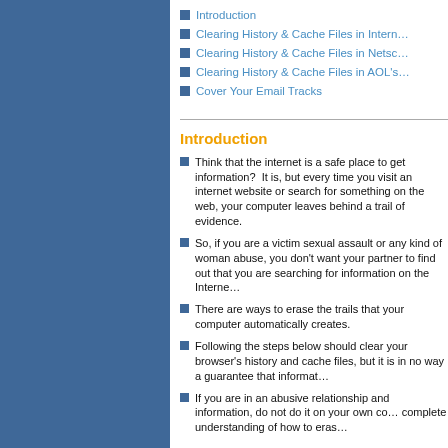Introduction
Clearing History & Cache Files in Intern…
Clearing History & Cache Files in Netsc…
Clearing History & Cache Files in AOL's…
Cover Your Email Tracks
Introduction
Think that the internet is a safe place to get information?  It is, but every time you visit an internet website or search for something on the web, your computer leaves behind a trail of evidence.
So, if you are a victim sexual assault or any kind of woman abuse, you don't want your partner to find out that you are searching for information on the Internet.
There are ways to erase the trails that your computer automatically creates.
Following the steps below should clear your browser's history and cache files, but it is in no way a guarantee that informat…
If you are in an abusive relationship and information, do not do it on your own co… complete understanding of how to eras…